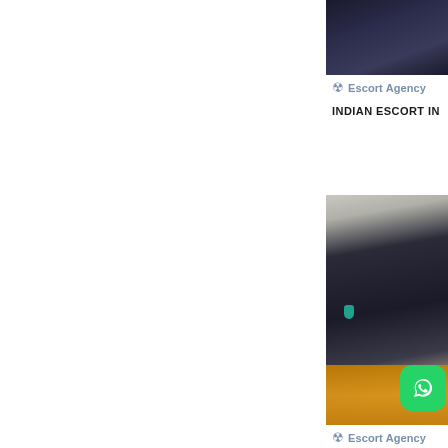[Figure (photo): Partial photo of a person, cropped at top of page, dark background visible]
Escort Agency
INDIAN ESCORT IN
[Figure (photo): Photo of a woman with dark hair wearing yellow garment, with green nails visible, WhatsApp button overlay in bottom right corner]
Escort Agency